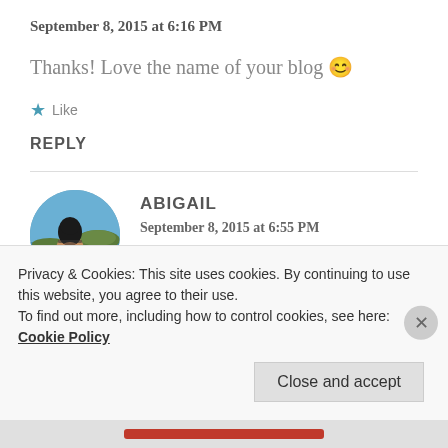September 8, 2015 at 6:16 PM
Thanks! Love the name of your blog 😊
★ Like
REPLY
ABIGAIL
September 8, 2015 at 6:55 PM
[Figure (photo): Circular avatar photo of Abigail, a woman with dark hair, wearing sunglasses and a floral top, with a blue ocean and island in the background.]
Privacy & Cookies: This site uses cookies. By continuing to use this website, you agree to their use.
To find out more, including how to control cookies, see here:
Cookie Policy
Close and accept